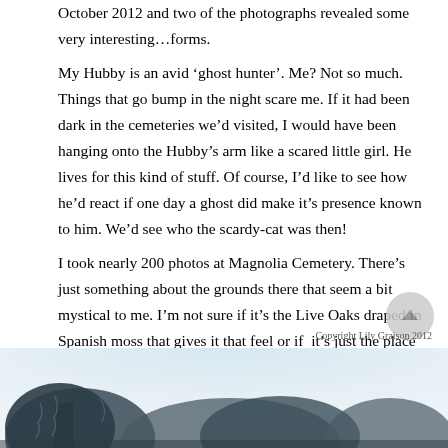October 2012 and two of the photographs revealed some very interesting…forms.
My Hubby is an avid 'ghost hunter'. Me? Not so much. Things that go bump in the night scare me. If it had been dark in the cemeteries we'd visited, I would have been hanging onto the Hubby's arm like a scared little girl. He lives for this kind of stuff. Of course, I'd like to see how he'd react if one day a ghost did make it's presence known to him. We'd see who the scardy-cat was then!
I took nearly 200 photos at Magnolia Cemetery. There's just something about the grounds there that seem a bit mystical to me. I'm not sure if it's the Live Oaks draped in Spanish moss that gives it that feel or if  it's just the place itself. Whatever it is, this cemetery should be on everything 'To Do' list if you ever find yourself in Charleston.
[Figure (photo): Bottom portion of a photo showing trees with Spanish moss at Magnolia Cemetery, Charleston. Monochrome/blue-tinted image partially visible at the bottom of the page.]
Copyright Lily Graison 2012